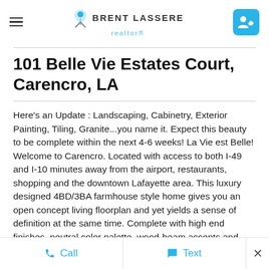Brent Lassere realtor®
101 Belle Vie Estates Court, Carencro, LA
Here's an Update : Landscaping, Cabinetry, Exterior Painting, Tiling, Granite...you name it. Expect this beauty to be complete within the next 4-6 weeks! La Vie est Belle! Welcome to Carencro. Located with access to both I-49 and I-10 minutes away from the airport, restaurants, shopping and the downtown Lafayette area. This luxury designed 4BD/3BA farmhouse style home gives you an open concept living floorplan and yet yields a sense of definition at the same time. Complete with high end finishes, neutral color palette, wood-beam accents and cathedral ceilings. Spacious living room with gas fireplace. Floor to ceiling windows allow plenty of
Call   Text